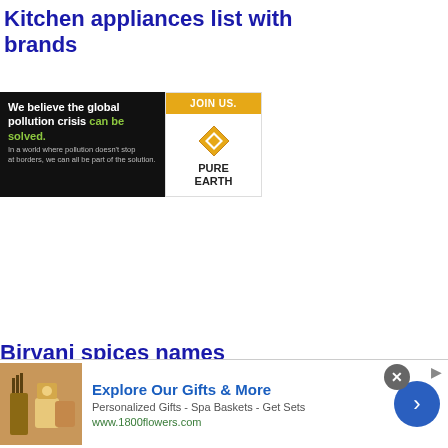Kitchen appliances list with brands
[Figure (illustration): Pure Earth advertisement banner. Left side black background with text 'We believe the global pollution crisis can be solved.' and smaller text 'In a world where pollution doesn't stop at borders, we can all be part of the solution.' Right side white with orange 'JOIN US.' button and Pure Earth diamond logo with text 'PURE EARTH'.]
Biryani spices names
Tips Tips
[Figure (illustration): 1800flowers advertisement. Shows gift products image on left, 'Explore Our Gifts & More' heading, 'Personalized Gifts - Spa Baskets - Get Sets' subtext, 'www.1800flowers.com' URL, close X button, blue arrow navigation button, and adchoices icon.]